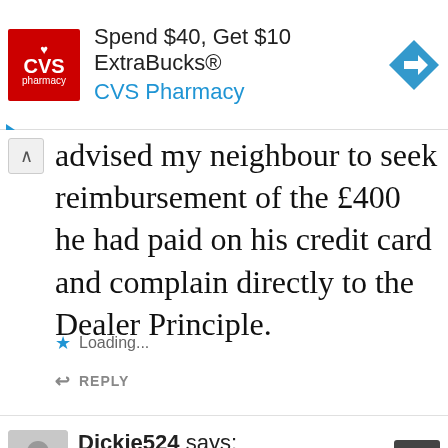[Figure (screenshot): CVS Pharmacy advertisement banner: red CVS pharmacy logo on left, text 'Spend $40, Get $10 ExtraBucks® CVS Pharmacy' in center, blue diamond direction arrow icon on right]
advised my neighbour to seek reimbursement of the £400 he had paid on his credit card and complain directly to the Dealer Principle.
Loading...
REPLY
Dickie524 says:
6 MARCH 2012 AT 2.52 PM
Richard, you're right, I hate being in a